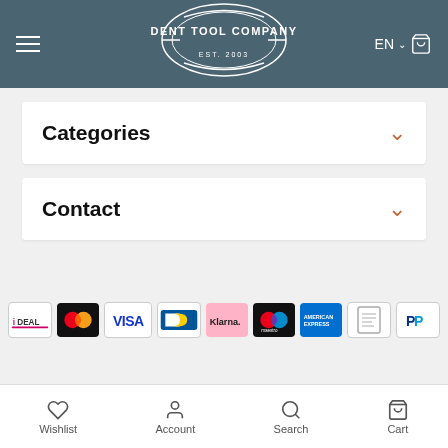DENT TOOL COMPANY — EST. 2003 — EN — Cart
Categories
Contact
[Figure (logo): Payment method logos: iDEAL, Mastercard, VISA, Bancontact, Klarna, Maestro, American Express, invoice, PayPal]
Wishlist | Account | Search | Cart